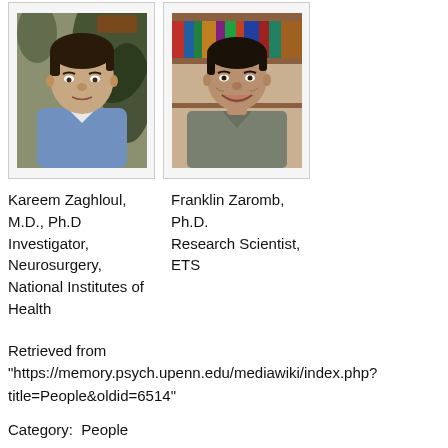[Figure (photo): Headshot of Kareem Zaghloul, a man with short dark hair wearing a light blue shirt, photographed against a natural background]
[Figure (photo): Headshot of Franklin Zaromb, a man with short dark hair smiling, wearing a grey shirt, photographed in front of bookshelves]
Kareem Zaghloul, M.D., Ph.D
Investigator, Neurosurgery,
National Institutes of Health
Franklin Zaromb, Ph.D.
Research Scientist, ETS
Retrieved from
"https://memory.psych.upenn.edu/mediawiki/index.php?title=People&oldid=6514"
Category:  People